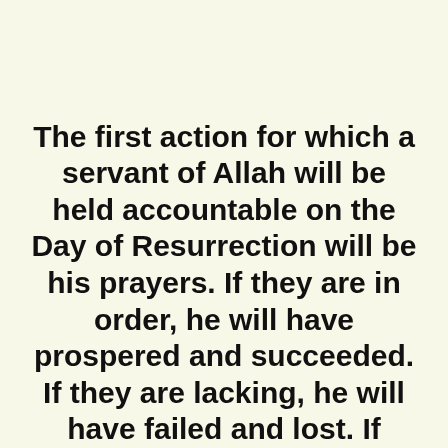The first action for which a servant of Allah will be held accountable on the Day of Resurrection will be his prayers. If they are in order, he will have prospered and succeeded. If they are lacking, he will have failed and lost. If